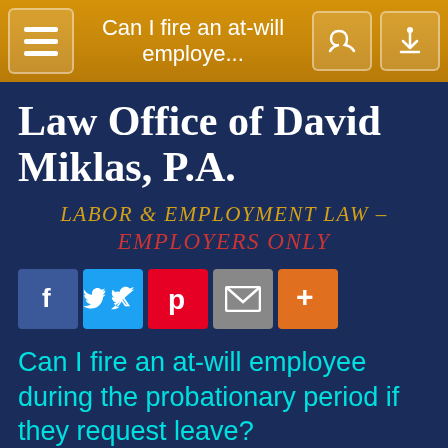Can I fire an at-will employe...
Law Office of David Miklas, P.A.
LABOR & EMPLOYMENT LAW – EMPLOYERS ONLY
[Figure (other): Social media sharing buttons: Facebook, Twitter, Pinterest, Email, More]
Can I fire an at-will employee during the probationary period if they request leave?
[Figure (photo): Partial view of two people's heads/hair at the bottom of the page]